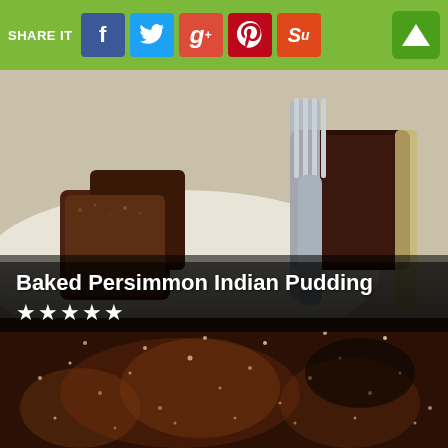SHARE IT
[Figure (photo): Close-up photo of baked persimmon Indian pudding on a plate with a fork, dark brown cake slices visible]
Baked Persimmon Indian Pudding
★★★★★
[Figure (photo): Close-up macro photo of dark moist baked pudding surface with sparkling texture]